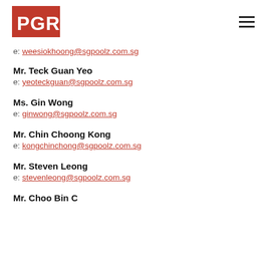PGRI logo and navigation menu
e: weesiokhoong@sgpoolz.com.sg
Mr. Teck Guan Yeo
e: yeoteckguan@sgpoolz.com.sg
Ms. Gin Wong
e: ginwong@sgpoolz.com.sg
Mr. Chin Choong Kong
e: kongchinchong@sgpoolz.com.sg
Mr. Steven Leong
e: stevenleong@sgpoolz.com.sg
Mr. Choo Bin C...